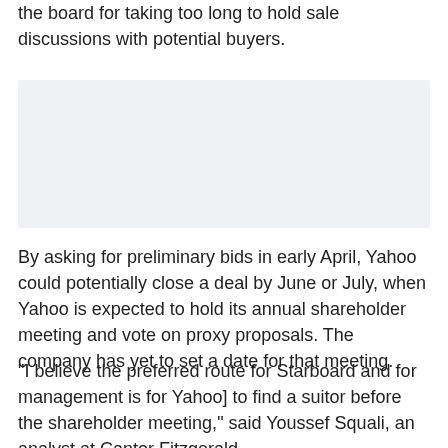the board for taking too long to hold sale discussions with potential buyers.
[Figure (other): Advertisement or placeholder box with light gray background]
By asking for preliminary bids in early April, Yahoo could potentially close a deal by June or July, when Yahoo is expected to hold its annual shareholder meeting and vote on proxy proposals. The company has yet to set a date for that meeting.
"I believe the preferred route for Starboard and for management is for Yahoo] to find a suitor before the shareholder meeting," said Youssef Squali, an analyst at Cantor Fitzgerald.
Yahoo's sale process is being managed by an independent